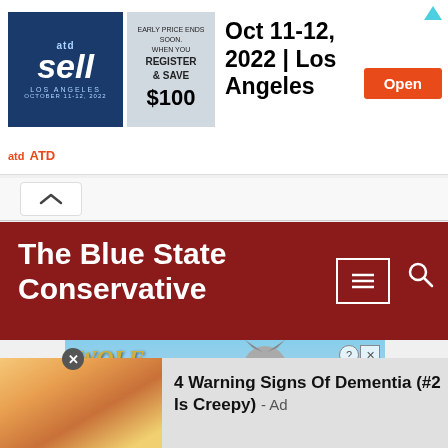[Figure (screenshot): ATD sell conference advertisement banner: logos, 'Oct 11-12, 2022 | Los Angeles', orange Open button]
[Figure (screenshot): Chevron/collapse button bar]
The Blue State Conservative
[Figure (illustration): Wolf Game: The Wild Kingdom advertisement with wolves and golden text]
[Figure (photo): Yellow fingernails close-up with overlay text: 4 Warning Signs Of Dementia (#2 Is Creepy) - Ad]